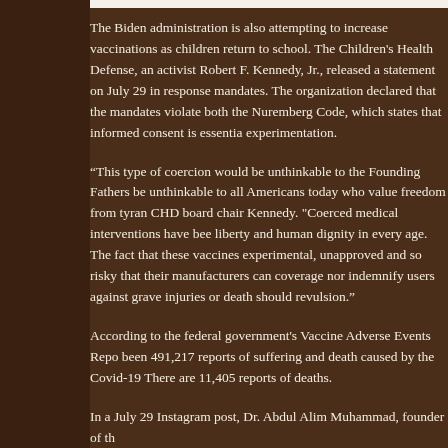The Biden administration is also attempting to increase vaccinations as children return to school. The Children's Health Defense, an activist Robert F. Kennedy, Jr., released a statement on July 29 in response mandates. The organization declared that the mandates violate both the Nuremberg Code, which states that informed consent is essentia experimentation.
“This type of coercion would be unthinkable to the Founding Fathers be unthinkable to all Americans today who value freedom from tyran CHD board chair Kennedy. "Coerced medical interventions have bee liberty and human dignity in every age. The fact that these vaccines experimental, unapproved and so risky that their manufacturers can coverage nor indemnify users against grave injuries or death should revulsion.”
According to the federal government's Vaccine Adverse Events Repo been 491,217 reports of suffering and death caused by the Covid-19 There are 11,405 reports of deaths.
In a July 29 Instagram post, Dr. Abdul Alim Muhammad, founder of th